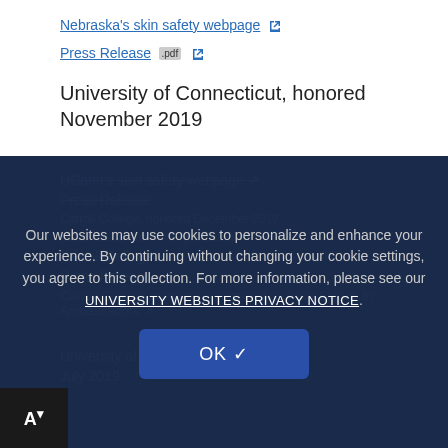Nebraska's skin safety webpage 🔗
Press Release .pdf 🔗
University of Connecticut, honored November 2019
UConn's skin safety webpage 🔗
Press Release
Carroll College, honored December 2019 (Gold status archived April 2019)
Carroll College students recognized as 'Your Skin Is In' Ambassadors 🔗
Our websites may use cookies to personalize and enhance your experience. By continuing without changing your cookie settings, you agree to this collection. For more information, please see our UNIVERSITY WEBSITES PRIVACY NOTICE.
University of Maryland Baltimore, honored July 2019